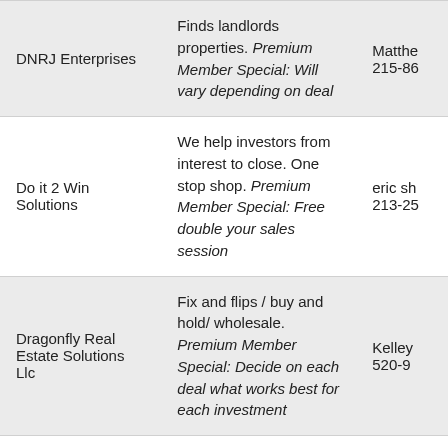| Company | Description | Contact |
| --- | --- | --- |
| DNRJ Enterprises | Finds landlords properties. Premium Member Special: Will vary depending on deal | Matthe
215-86 |
| Do it 2 Win Solutions | We help investors from interest to close. One stop shop. Premium Member Special: Free double your sales session | eric sh
213-25 |
| Dragonfly Real Estate Solutions Llc | Fix and flips / buy and hold/ wholesale. Premium Member Special: Decide on each deal what works best for each investment | Kelley
520-9 |
| Drees Vancant House Investments LLC | I am what you would consider a bird dog, I hunt properties for real investors/ cash buyers in particular. Premium ... | Kahdri
OWNER
494-9 |